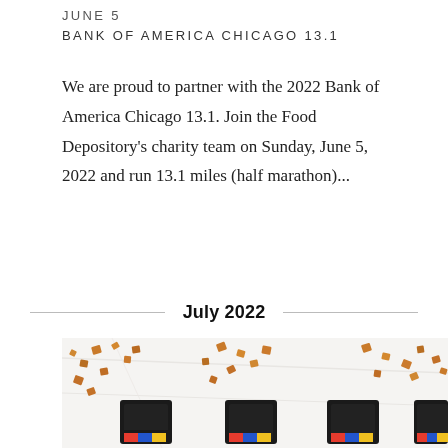JUNE 5
BANK OF AMERICA CHICAGO 13.1
We are proud to partner with the 2022 Bank of America Chicago 13.1. Join the Food Depository’s charity team on Sunday, June 5, 2022 and run 13.1 miles (half marathon)...
July 2022
[Figure (photo): Photo of Kooshy crouton product packages with croutons scattered around them on a marble surface]